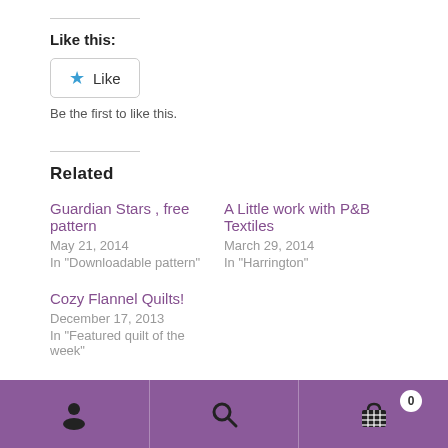Like this:
Like
Be the first to like this.
Related
Guardian Stars , free pattern
May 21, 2014
In "Downloadable pattern"
A Little work with P&B Textiles
March 29, 2014
In "Harrington"
Cozy Flannel Quilts!
December 17, 2013
In "Featured quilt of the week"
User icon | Search icon | Cart icon with badge 0